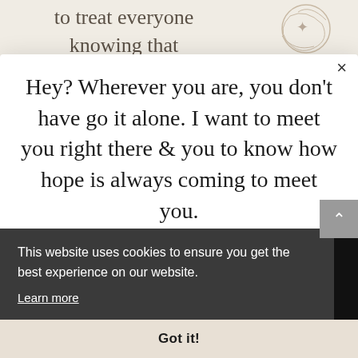to treat everyone knowing that
[Figure (illustration): Decorative circular illustration in top right corner, partially visible]
×
Hey? Wherever you are, you don't have go it alone. I want to meet you right there & you to know how hope is always coming to meet you.
Encouragement and growth tools will land right in your inbox as we walk the Way - together.
This website uses cookies to ensure you get the best experience on our website.
Learn more
Got it!